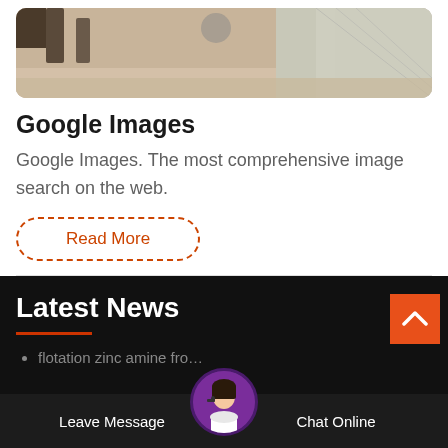[Figure (photo): A construction or mining site photo showing ground, machinery, and a large white mesh or net structure on the right side.]
Google Images
Google Images. The most comprehensive image search on the web.
Read More
Latest News
flotation zinc amine fro…